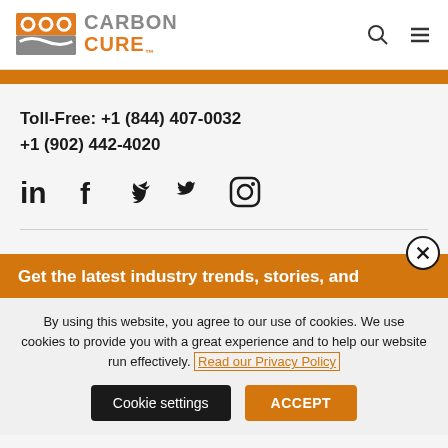CarbonCure logo, search icon, menu icon
Toll-Free: +1 (844) 407-0032
+1 (902) 442-4020
[Figure (infographic): Social media icons: LinkedIn, Facebook, Twitter, Instagram]
Get the latest industry trends, stories, and
By using this website, you agree to our use of cookies. We use cookies to provide you with a great experience and to help our website run effectively. Read our Privacy Policy
Cookie settings  ACCEPT